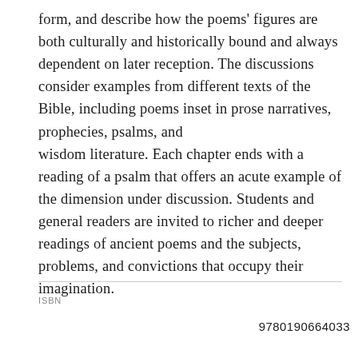form, and describe how the poems' figures are both culturally and historically bound and always dependent on later reception. The discussions consider examples from different texts of the Bible, including poems inset in prose narratives, prophecies, psalms, and wisdom literature. Each chapter ends with a reading of a psalm that offers an acute example of the dimension under discussion. Students and general readers are invited to richer and deeper readings of ancient poems and the subjects, problems, and convictions that occupy their imagination.
ISBN
9780190664033